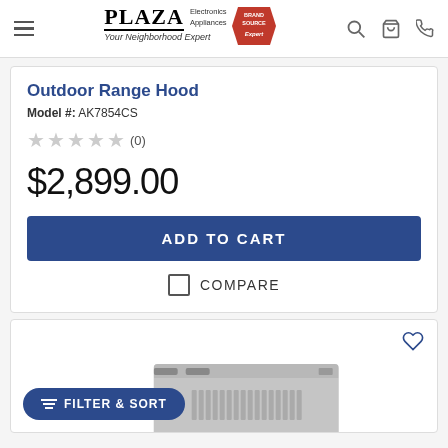PLAZA Electronics Appliances — Your Neighborhood Expert
Outdoor Range Hood
Model #: AK7854CS
★★★★★ (0)
$2,899.00
ADD TO CART
COMPARE
[Figure (screenshot): Bottom portion of a second product listing card with a heart/wishlist icon and a partial view of an appliance (likely a dishwasher or range) image]
FILTER & SORT